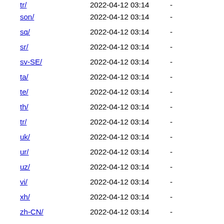tr/ 2022-04-12 03:14 -
son/ 2022-04-12 03:14 -
sq/ 2022-04-12 03:14 -
sr/ 2022-04-12 03:14 -
sv-SE/ 2022-04-12 03:14 -
ta/ 2022-04-12 03:14 -
te/ 2022-04-12 03:14 -
th/ 2022-04-12 03:14 -
tr/ 2022-04-12 03:14 -
uk/ 2022-04-12 03:14 -
ur/ 2022-04-12 03:14 -
uz/ 2022-04-12 03:14 -
vi/ 2022-04-12 03:14 -
xh/ 2022-04-12 03:14 -
zh-CN/ 2022-04-12 03:14 -
zh-TW/ 2022-04-12 03:14 -
Apache/2.4.38 (Debian) Server at ftp.pl.vim.org Port 443